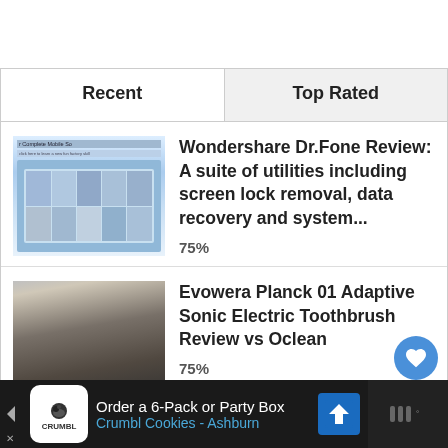Recent | Top Rated
Wondershare Dr.Fone Review: A suite of utilities including screen lock removal, data recovery and system...
75%
Evowera Planck 01 Adaptive Sonic Electric Toothbrush Review vs Oclean
75%
Order a 6-Pack or Party Box
Crumbl Cookies - Ashburn